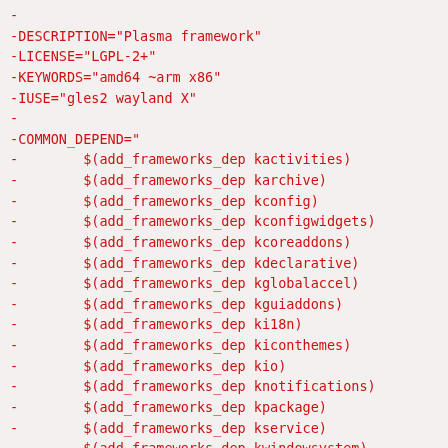-
-DESCRIPTION="Plasma framework"
-LICENSE="LGPL-2+"
-KEYWORDS="amd64 ~arm x86"
-IUSE="gles2 wayland X"
-
-COMMON_DEPEND="
-        $(add_frameworks_dep kactivities)
-        $(add_frameworks_dep karchive)
-        $(add_frameworks_dep kconfig)
-        $(add_frameworks_dep kconfigwidgets)
-        $(add_frameworks_dep kcoreaddons)
-        $(add_frameworks_dep kdeclarative)
-        $(add_frameworks_dep kglobalaccel)
-        $(add_frameworks_dep kguiaddons)
-        $(add_frameworks_dep ki18n)
-        $(add_frameworks_dep kiconthemes)
-        $(add_frameworks_dep kio)
-        $(add_frameworks_dep knotifications)
-        $(add_frameworks_dep kpackage)
-        $(add_frameworks_dep kservice)
-        $(add_frameworks_dep kwindowsystem)